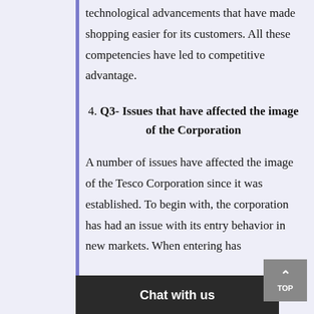technological advancements that have made shopping easier for its customers. All these competencies have led to competitive advantage.
4. Q3- Issues that have affected the image of the Corporation
A number of issues have affected the image of the Tesco Corporation since it was established. To begin with, the corporation has had an issue with its entry behavior in new markets. When entering has